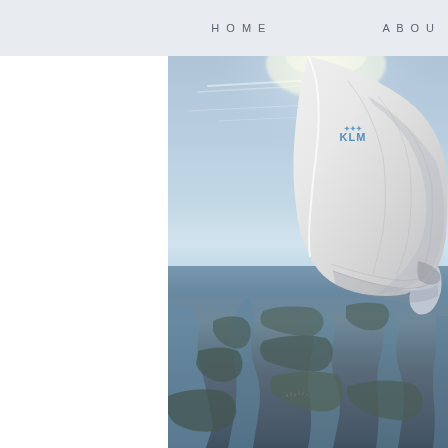HOME    ABOU
[Figure (photo): Aerial view from a KLM airplane window showing the aircraft wing with KLM logo, sky with thin clouds, and a coastal landscape with waterways, islands, and settlements below, viewed from high altitude.]